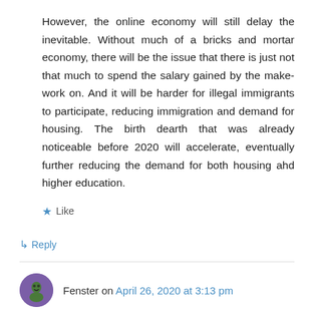However, the online economy will still delay the inevitable. Without much of a bricks and mortar economy, there will be the issue that there is just not that much to spend the salary gained by the make-work on. And it will be harder for illegal immigrants to participate, reducing immigration and demand for housing. The birth dearth that was already noticeable before 2020 will accelerate, eventually further reducing the demand for both housing ahd higher education.
★ Like
↳ Reply
Fenster on April 26, 2020 at 3:13 pm